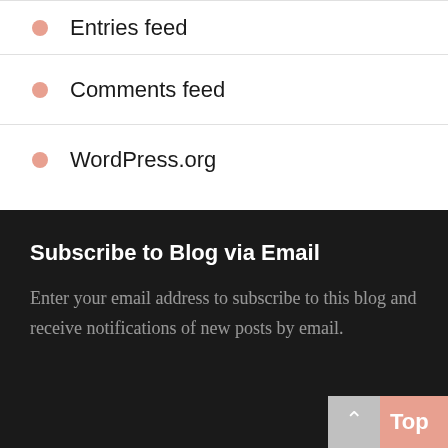Entries feed
Comments feed
WordPress.org
Subscribe to Blog via Email
Enter your email address to subscribe to this blog and receive notifications of new posts by email.